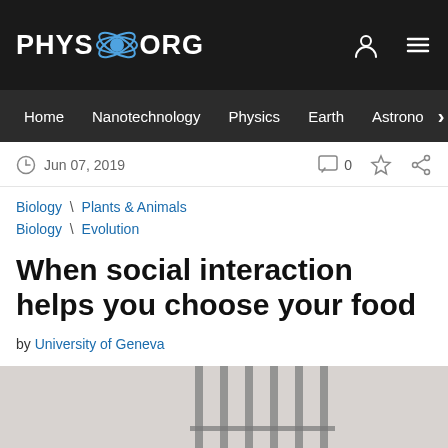PHYS.ORG
Home | Nanotechnology | Physics | Earth | Astronomy >
Jun 07, 2019
Biology \ Plants & Animals
Biology \ Evolution
When social interaction helps you choose your food
by University of Geneva
[Figure (photo): Two mice interacting through metal cage bars, one on each side, sniffing each other through the bars]